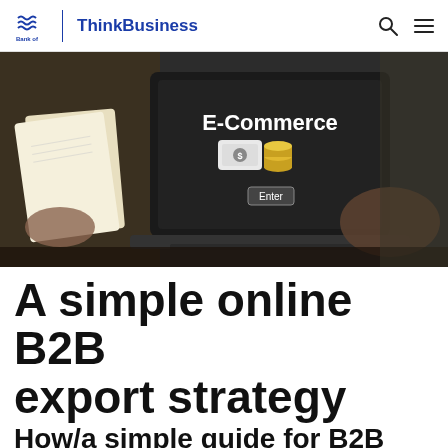Bank of Ireland | ThinkBusiness
[Figure (photo): Person reading a book on left, person using a laptop displaying 'E-Commerce' with money and coin icons and an 'Enter' button on screen, dark background]
A simple online B2B export strategy
How/a simple guide for B2B